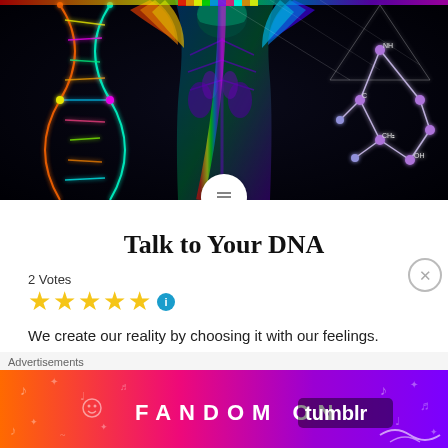[Figure (illustration): Colorful psychedelic digital art showing a human figure with DNA double helix on the left side, rainbow energy patterns in the center, and a molecular structure diagram on the right, all on a black background. A white circular scroll button overlaps the bottom center.]
Talk to Your DNA
2 Votes
We create our reality by choosing it with our feelings.
Human emotion effects the field that connects all our world
Advertisements
[Figure (illustration): Fandom on Tumblr advertisement banner with orange-to-purple gradient and white text reading FANDOM ON tumblr with decorative music and doodle icons.]